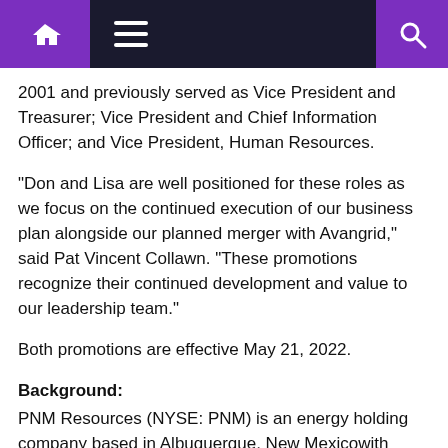Navigation bar with home, menu, and search icons
2001 and previously served as Vice President and Treasurer; Vice President and Chief Information Officer; and Vice President, Human Resources.
“Don and Lisa are well positioned for these roles as we focus on the continued execution of our business plan alongside our planned merger with Avangrid,” said Pat Vincent Collawn. “These promotions recognize their continued development and value to our leadership team.”
Both promotions are effective May 21, 2022.
Background:
PNM Resources (NYSE: PNM) is an energy holding company based in Albuquerque, New Mexicowith 2021 consolidated operating revenue of $1.8 billion. Through its regulated utilities, PNM and TNMP, PNM Resources provides electricity to